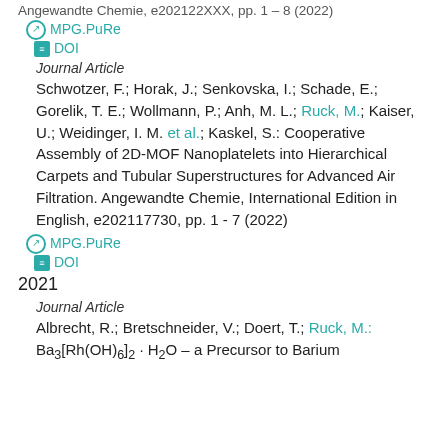Angewandte Chemie, e202122XXX, pp. 1 – 8 (2022)
MPG.PuRe
DOI
Journal Article
Schwotzer, F.; Horak, J.; Senkovska, I.; Schade, E.; Gorelik, T. E.; Wollmann, P.; Anh, M. L.; Ruck, M.; Kaiser, U.; Weidinger, I. M. et al.; Kaskel, S.: Cooperative Assembly of 2D-MOF Nanoplatelets into Hierarchical Carpets and Tubular Superstructures for Advanced Air Filtration. Angewandte Chemie, International Edition in English, e202117730, pp. 1 - 7 (2022)
MPG.PuRe
DOI
2021
Journal Article
Albrecht, R.; Bretschneider, V.; Doert, T.; Ruck, M.: Ba3[Rh(OH)6]2 · H2O – a Precursor to Barium